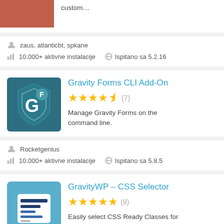[Figure (screenshot): Partial plugin card top showing plugin icon (cropped) and description text 'custom...']
zaus, atlanticbt, spkane
10.000+ aktivne instalacije   Ispitano sa 5.2.16
[Figure (screenshot): Gravity Forms CLI Add-On plugin listing card with teal shield icon, 4.5 star rating (7 reviews), description: Manage Gravity Forms on the command line.]
Gravity Forms CLI Add-On
4.5 stars (7)
Manage Gravity Forms on the command line.
Rocketgenius
10.000+ aktivne instalacije   Ispitano sa 5.8.5
[Figure (screenshot): GravityWP - CSS Selector plugin listing card with light blue icon, 5 star rating (9 reviews), description: Easily select CSS Ready Classes for]
GravityWP – CSS Selector
5 stars (9)
Easily select CSS Ready Classes for